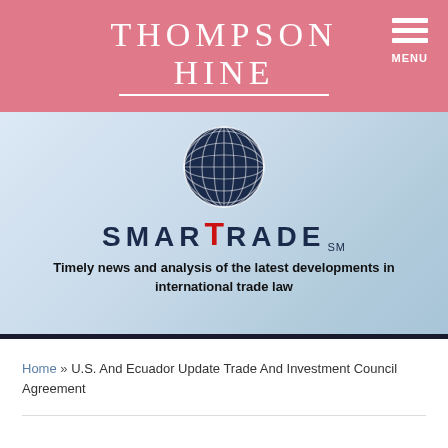Thompson Hine — MENU
[Figure (logo): SmartTrade logo with globe icon. Text reads SMARTTRADE SM — Timely news and analysis of the latest developments in international trade law]
Home » U.S. And Ecuador Update Trade And Investment Council Agreement